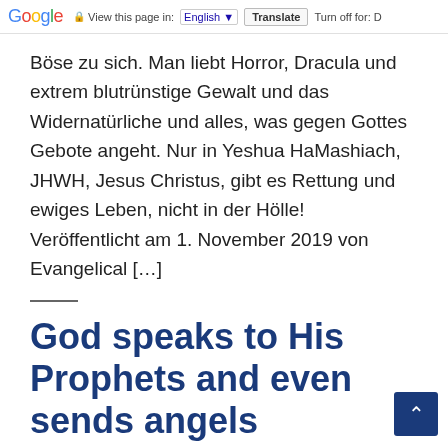Google  View this page in: English  Translate  Turn off for: D
Böse zu sich. Man liebt Horror, Dracula und extrem blutrünstige Gewalt und das Widernatürliche und alles, was gegen Gottes Gebote angeht. Nur in Yeshua HaMashiach, JHWH, Jesus Christus, gibt es Rettung und ewiges Leben, nicht in der Hölle! Veröffentlicht am 1. November 2019 von Evangelical […]
God speaks to His Prophets and even sends angels